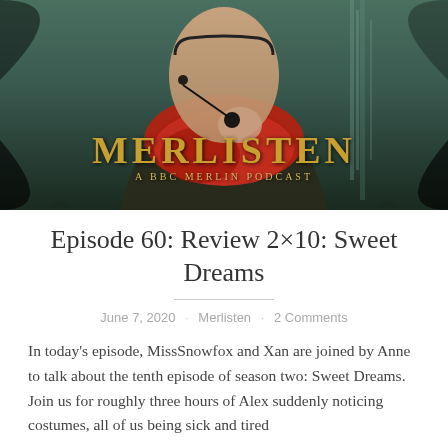[Figure (photo): Podcast cover art for Merlisten: A BBC Merlin Podcast. Shows a person wearing a headset microphone with a red scarf and dark jacket, against a dark forest/waterfall background. The title 'MERLISTEN' appears in large gold/amber serif letters with 'A BBC MERLIN PODCAST' subtitle beneath.]
Episode 60: Review 2×10: Sweet Dreams
June 7, 2020 · Merlisten · 2 Comments
In today's episode, MissSnowfox and Xan are joined by Anne to talk about the tenth episode of season two: Sweet Dreams. Join us for roughly three hours of Alex suddenly noticing costumes, all of us being sick and tired of the show and Pendragon royalty really being all the best and